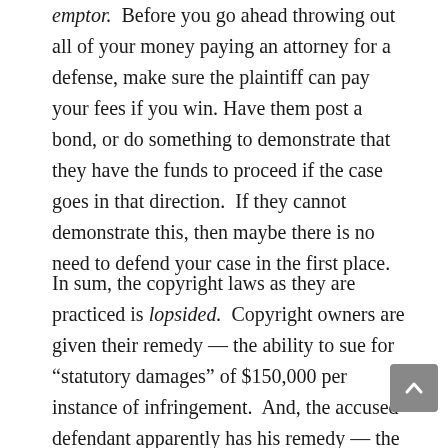emptor.  Before you go ahead throwing out all of your money paying an attorney for a defense, make sure the plaintiff can pay your fees if you win. Have them post a bond, or do something to demonstrate that they have the funds to proceed if the case goes in that direction.  If they cannot demonstrate this, then maybe there is no need to defend your case in the first place.
In sum, the copyright laws as they are practiced is lopsided.  Copyright owners are given their remedy — the ability to sue for “statutory damages” of $150,000 per instance of infringement.  And, the accused defendant apparently has his remedy — the ability to retrieve his paid attorney fees when he successfully defends his case against the copyright holder.  Why shouldn’t an accused defendant take a few steps to preserve his rights and check to make sure the plaintiff